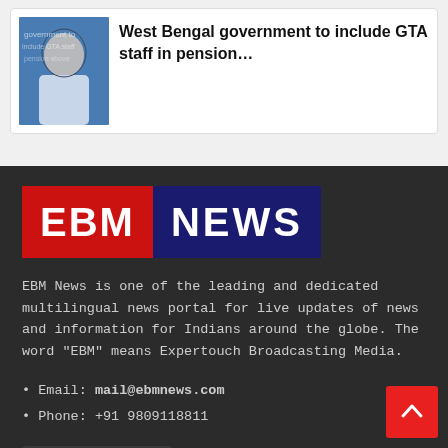[Figure (photo): Photo of a woman in white with blue background inside a news article card]
West Bengal government to include GTA staff in pension…
[Figure (logo): EBM NEWS logo: red rectangle with EBM in white and dark blue rectangle with NEWS in white]
EBM News is one of the leading and dedicated multilingual news portal for live updates of news and information for Indians around the globe. The word "EBM" means Expertouch Broadcasting Media.
• Email: mail@ebmnews.com
• Phone: +91 9809118811
CONTACT